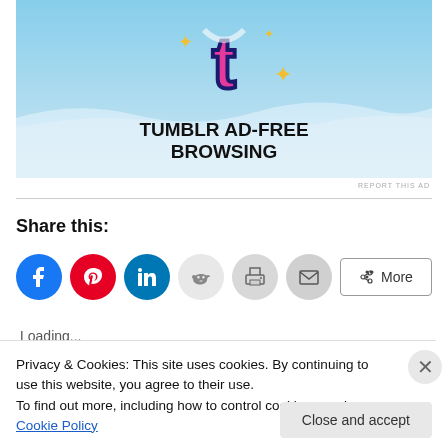[Figure (illustration): Tumblr Ad-Free Browsing advertisement banner with pink 'T' logo on blue sky background with sparkles, text reads 'TUMBLR AD-FREE BROWSING']
REPORT THIS AD
Share this:
[Figure (infographic): Row of social sharing buttons: Facebook (blue), Pinterest (red), LinkedIn (blue), Reddit (light gray), Print (gray), Email (gray), and a More button]
Loading...
Privacy & Cookies: This site uses cookies. By continuing to use this website, you agree to their use.
To find out more, including how to control cookies, see here: Cookie Policy
Close and accept